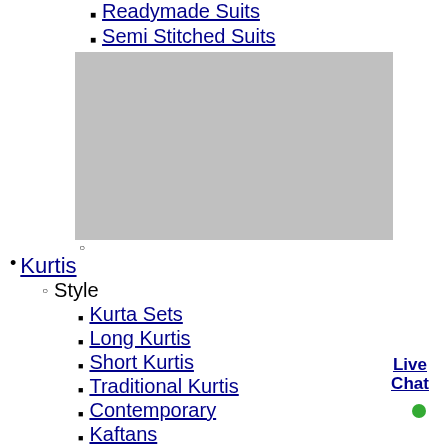Readymade Suits
Semi Stitched Suits
[Figure (other): Gray placeholder image box]
Kurtis
Style
Kurta Sets
Long Kurtis
Short Kurtis
Traditional Kurtis
Contemporary
Kaftans
Plus Size Kurtis
Fabric
Silk
Chiffon
Live Chat